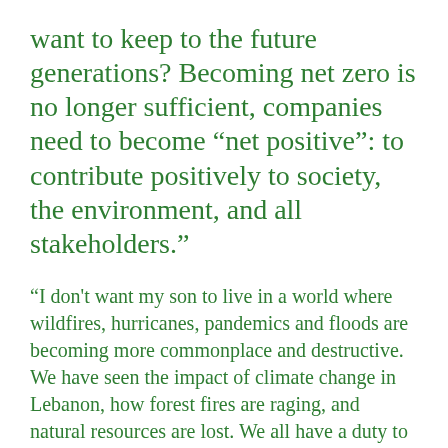want to keep to the future generations? Becoming net zero is no longer sufficient, companies need to become “net positive”: to contribute positively to society, the environment, and all stakeholders.”
“I don’t want my son to live in a world where wildfires, hurricanes, pandemics and floods are becoming more commonplace and destructive. We have seen the impact of climate change in Lebanon, how forest fires are raging, and natural resources are lost. We all have a duty to act on climate change,” she